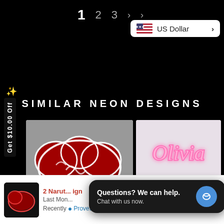1  2  3  >  US Dollar
SIMILAR NEON DESIGNS
Get $10.00 Off
[Figure (photo): Neon red cloud Akatsuki-style sign glowing white outline on dark background]
[Figure (photo): Pink neon sign spelling 'Olivia' in cursive script on light wall with person below]
2 Narut... ign
Last Mon...
Recently  ProveSource
Questions? We can help. Chat with us now.